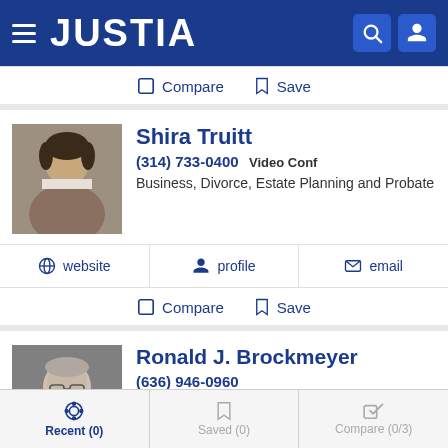JUSTIA
Compare  Save
Shira Truitt
(314) 733-0400  Video Conf
Business, Divorce, Estate Planning and Probate
website   profile   email
Compare  Save
Ronald J. Brockmeyer
(636) 946-0960
Criminal, DWI, Divorce and Domestic Violence
Recent (0)   Saved (0)   Compare (0/3)